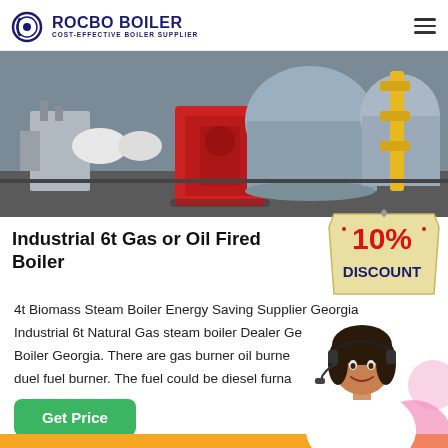[Figure (logo): Rocbo Boiler logo with circular boiler icon and text 'ROCBO BOILER, COST-EFFECTIVE BOILER SUPPLIER']
[Figure (photo): Industrial boiler room with red gas burner, large cylindrical boiler tanks, yellow gas pipes, and associated mechanical equipment]
Industrial 6t Gas or Oil Fired Boiler
[Figure (illustration): 10% DISCOUNT badge in red and dark blue on tan/cream tag shape]
4t Biomass Steam Boiler Energy Saving Supplier Georgia Industrial 6t Natural Gas steam boiler Dealer Georgia. Boiler Georgia. There are gas burner oil burner duel fuel burner. The fuel could be diesel furna
[Figure (photo): Female customer service agent wearing headset, smiling, with pink bubble decorations]
Get Price